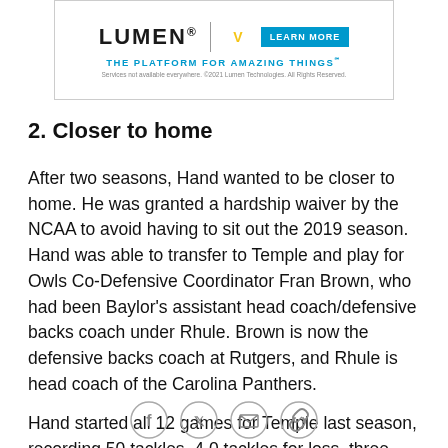[Figure (other): Lumen advertisement banner with Minnesota Vikings logo and 'LEARN MORE' button. Tagline: 'THE PLATFORM FOR AMAZING THINGS℠'. Legal text: 'Services not available everywhere. ©2021 Lumen Technologies. All Rights Reserved.']
2. Closer to home
After two seasons, Hand wanted to be closer to home. He was granted a hardship waiver by the NCAA to avoid having to sit out the 2019 season. Hand was able to transfer to Temple and play for Owls Co-Defensive Coordinator Fran Brown, who had been Baylor's assistant head coach/defensive backs coach under Rhule. Brown is now the defensive backs coach at Rutgers, and Rhule is head coach of the Carolina Panthers.
Hand started all 12 games for Temple last season, recording 50 tackles, 4.0 tackles for loss, three
[Figure (other): Social sharing icons row: Facebook, Twitter, Email/envelope, Link/chain icons in circular outlines]